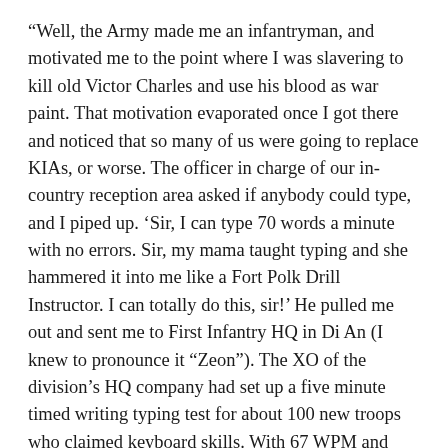“Well, the Army made me an infantryman, and motivated me to the point where I was slavering to kill old Victor Charles and use his blood as war paint. That motivation evaporated once I got there and noticed that so many of us were going to replace KIAs, or worse. The officer in charge of our in-country reception area asked if anybody could type, and I piped up. ‘Sir, I can type 70 words a minute with no errors. Sir, my mama taught typing and she hammered it into me like a Fort Polk Drill Instructor. I can totally do this, sir!’ He pulled me out and sent me to First Infantry HQ in Di An (I knew to pronounce it “Zeon”). The XO of the division’s HQ company had set up a five minute timed writing typing test for about 100 new troops who claimed keyboard skills. With 67 WPM and only two errors, I led the league. I spent a year in division HQ, with three weeks off on medical leave for carpal tendinitis. The CG of the Big Red One, MG Orwin Talbott, offered to put me up for a Purple